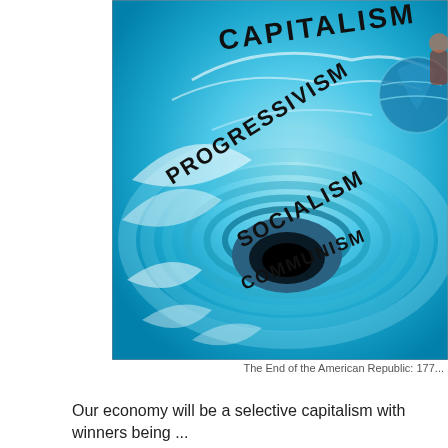[Figure (illustration): A whirlpool/vortex illustration with political ideology labels arranged spiraling inward: CAPITALISM at the top (outermost), then PROGRESSIVISM, SOCIALISM, and COMMUNISM at the center (innermost dark void). A globe and figure are visible at the upper right. The background is blue swirling water.]
The End of the American Republic: 177...
Our economy will be a selective capitalism with winners being ...